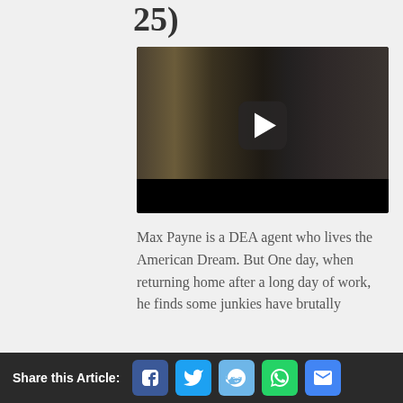25)
[Figure (screenshot): Video player screenshot showing a person holding a gun in a dark subway/tunnel setting, with a large play button overlay and black bottom bar.]
Max Payne is a DEA agent who lives the American Dream. But One day, when returning home after a long day of work, he finds some junkies have brutally
Share this Article: [Facebook] [Twitter] [Reddit] [WhatsApp] [Email]